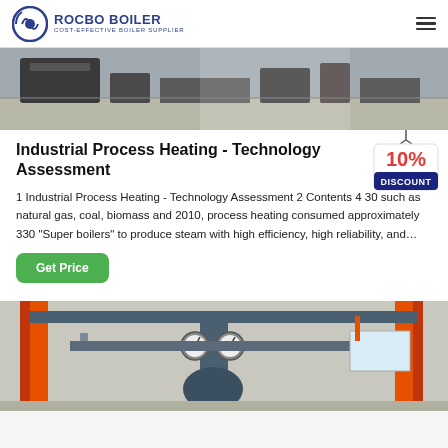ROCBO BOILER COST-EFFECTIVE BOILER SUPPLIER
[Figure (photo): Industrial boiler equipment on a factory floor, showing machinery and metal components from above]
Industrial Process Heating - Technology Assessment
[Figure (infographic): 10% DISCOUNT badge/tag hanging sign in red and blue]
1 Industrial Process Heating - Technology Assessment 2 Contents 4 30 such as natural gas, coal, biomass and 2010, process heating consumed approximately 330 "Super boilers" to produce steam with high efficiency, high reliability, and…
[Figure (photo): Industrial boiler installation with orange pipes and pressure gauges in a facility]